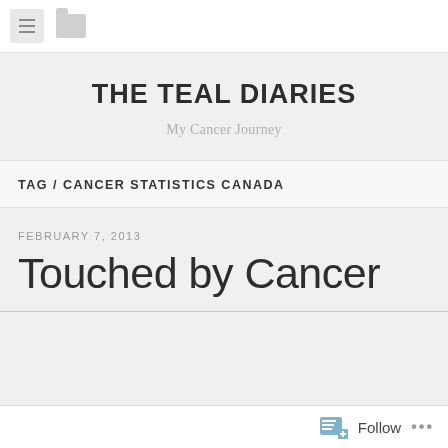THE TEAL DIARIES — My Cancer Journey (navigation bar)
THE TEAL DIARIES
My Cancer Journey
TAG / CANCER STATISTICS CANADA
FEBRUARY 7, 2013
Touched by Cancer
Follow ...